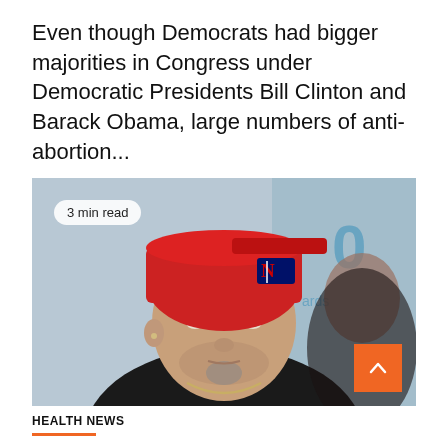Even though Democrats had bigger majorities in Congress under Democratic Presidents Bill Clinton and Barack Obama, large numbers of anti-abortion...
[Figure (photo): Man wearing a red backwards baseball cap with MLB logo, wearing a black shirt and chain necklace, with a blurred event backdrop behind him. A '3 min read' badge appears in the upper left corner and an orange scroll-to-top button in the lower right.]
HEALTH NEWS